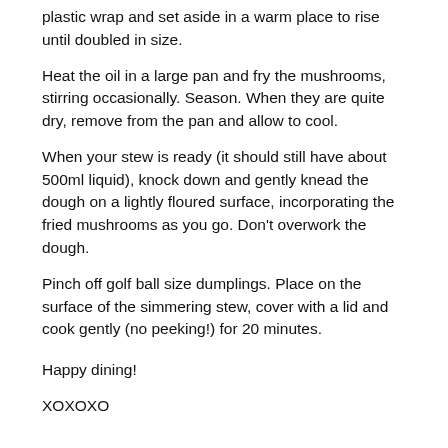plastic wrap and set aside in a warm place to rise until doubled in size.
Heat the oil in a large pan and fry the mushrooms, stirring occasionally. Season. When they are quite dry, remove from the pan and allow to cool.
When your stew is ready (it should still have about 500ml liquid), knock down and gently knead the dough on a lightly floured surface, incorporating the fried mushrooms as you go. Don’t overwork the dough.
Pinch off golf ball size dumplings. Place on the surface of the simmering stew, cover with a lid and cook gently (no peeking!) for 20 minutes.
Happy dining!
XOXOXO